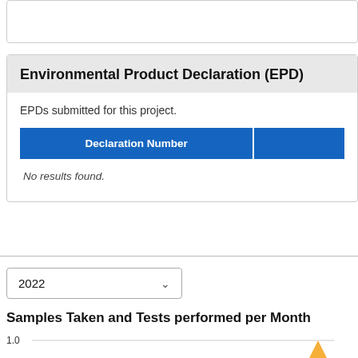Environmental Product Declaration (EPD)
EPDs submitted for this project.
| Declaration Number |  |
| --- | --- |
No results found.
[Figure (other): Dropdown selector showing year 2022 with chevron arrow]
Samples Taken and Tests performed per Month
[Figure (line-chart): Partial line chart showing y-axis value 1.0 and an orange triangle marker visible at the right edge]